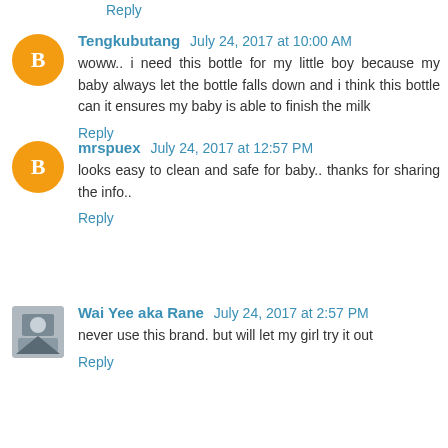Reply
Tengkubutang  July 24, 2017 at 10:00 AM
woww.. i need this bottle for my little boy because my baby always let the bottle falls down and i think this bottle can it ensures my baby is able to finish the milk
Reply
mrspuex  July 24, 2017 at 12:57 PM
looks easy to clean and safe for baby.. thanks for sharing the info..
Reply
Wai Yee aka Rane  July 24, 2017 at 2:57 PM
never use this brand. but will let my girl try it out
Reply